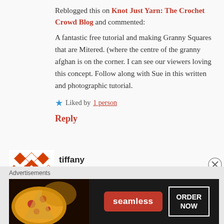Reblogged this on Knot Just Yarn: The Crochet Crowd Blog and commented:
A fantastic free tutorial and making Granny Squares that are Mitered. (where the centre of the granny afghan is on the corner. I can see our viewers loving this concept. Follow along with Sue in this written and photographic tutorial.
★ Liked by 1 person
Reply
tiffany
june 20, 2013 at 9:34 pm
[Figure (logo): Tiffany avatar with orange and white geometric diamond/cross pattern on red background]
Advertisements
[Figure (photo): Seamless food delivery advertisement showing pizza with ORDER NOW button]